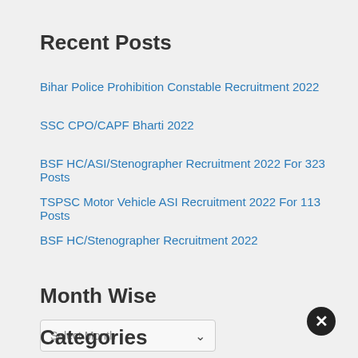Recent Posts
Bihar Police Prohibition Constable Recruitment 2022
SSC CPO/CAPF Bharti 2022
BSF HC/ASI/Stenographer Recruitment 2022 For 323 Posts
TSPSC Motor Vehicle ASI Recruitment 2022 For 113 Posts
BSF HC/Stenographer Recruitment 2022
Month Wise
Select Month
Categories